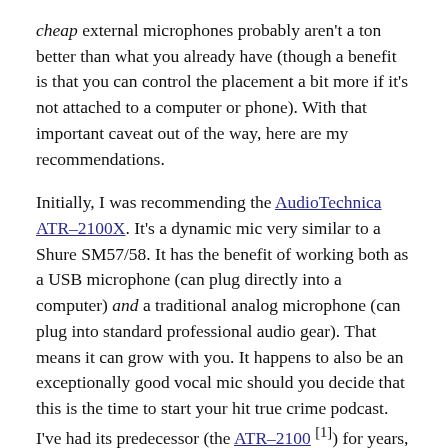cheap external microphones probably aren't a ton better than what you already have (though a benefit is that you can control the placement a bit more if it's not attached to a computer or phone). With that important caveat out of the way, here are my recommendations.
Initially, I was recommending the AudioTechnica ATR-2100X. It's a dynamic mic very similar to a Shure SM57/58. It has the benefit of working both as a USB microphone (can plug directly into a computer) and a traditional analog microphone (can plug into standard professional audio gear). That means it can grow with you. It happens to also be an exceptionally good vocal mic should you decide that this is the time to start your hit true crime podcast. I've had its predecessor (the ATR-2100 [1]) for years, and it works great. It costs around $100 on Amazon—if you can find it—so it's not exactly cheap, but still on the low end when it comes to microphones. This is a really good mic, and if you picked it up on my recommendation, I stand by it. Since then, though, I've